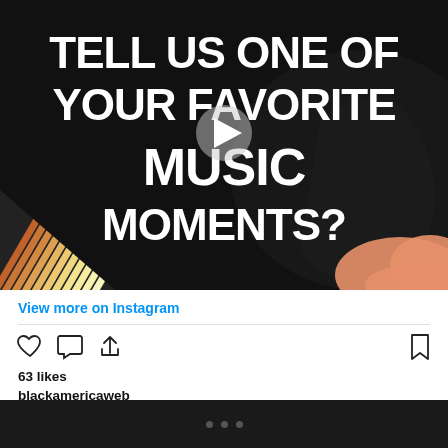[Figure (screenshot): Instagram video thumbnail with dark background, bold white text reading 'TELL US ONE OF YOUR FAVORITE MUSIC MOMENTS?', a play button overlay, diagonal orange/yellow striped triangle in bottom-left corner, and a peach/orange blob shape in bottom-right corner.]
View more on Instagram
[Figure (illustration): Instagram action icons row: heart (like), comment bubble, share arrow on the left; bookmark on the right.]
63 likes
blackamericaweb